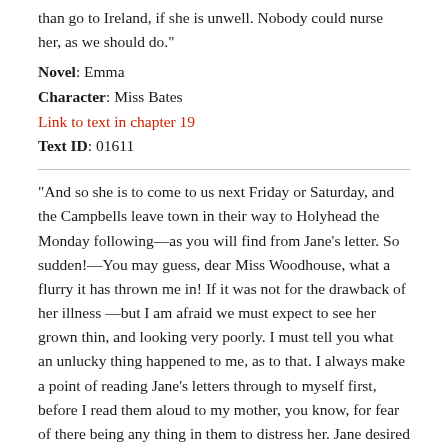than go to Ireland, if she is unwell. Nobody could nurse her, as we should do."
Novel: Emma
Character: Miss Bates
Link to text in chapter 19
Text ID: 01611
"And so she is to come to us next Friday or Saturday, and the Campbells leave town in their way to Holyhead the Monday following—as you will find from Jane's letter. So sudden!—You may guess, dear Miss Woodhouse, what a flurry it has thrown me in! If it was not for the drawback of her illness —but I am afraid we must expect to see her grown thin, and looking very poorly. I must tell you what an unlucky thing happened to me, as to that. I always make a point of reading Jane's letters through to myself first, before I read them aloud to my mother, you know, for fear of there being any thing in them to distress her. Jane desired me to do it, so I always do: and so I began to-day with my usual caution; but no sooner did I come to the mention of her being unwell, than I burst out, quite frightened, with 'Bless me! poor Jane is ill!'—which my mother, being on the watch, heard